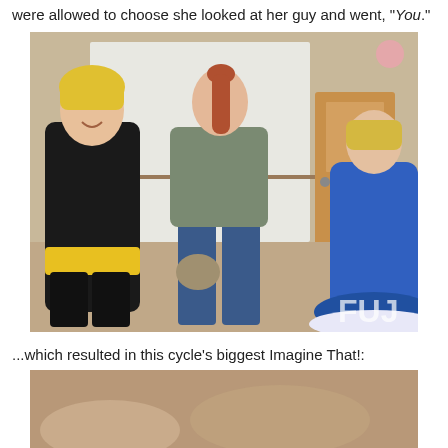were allowed to choose she looked at her guy and went, "You."
[Figure (photo): Three young women in a studio/classroom setting. Left: blonde woman in black outfit with yellow waist piece. Center: tall redhead in gray tank top and jeans carrying a bag. Right: woman in blue dress. A whiteboard and wooden door are visible in the background.]
...which resulted in this cycle's biggest Imagine That!:
[Figure (photo): Partial view of a second photo, bottom of page, showing warm tan/brown tones, appears to be a continuation scene.]